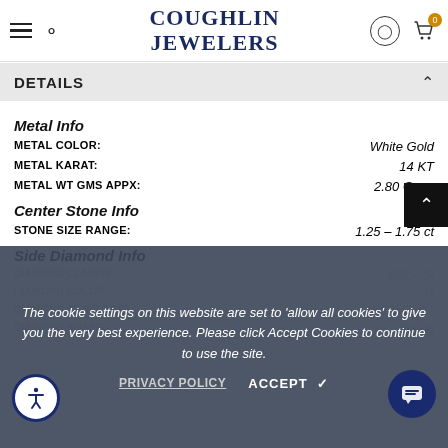Coughlin Jewelers
DETAILS
Metal Info
| Property | Value |
| --- | --- |
| METAL COLOR: | White Gold |
| METAL KARAT: | 14 KT |
| METAL WT GMS APPX: | 2.80 Gms. |
Center Stone Info
| Property | Value |
| --- | --- |
| STONE SIZE RANGE: | 1.25 – 1.75 ct |
Side Diamond Info
| Property | Value |
| --- | --- |
| DIAMOND CLARITY: | VS2 - SI |
| DIAMOND COLOR: | G |
| DIAMOND CT WT APPX: | 0.53 CT |
| DIAMOND SHAPE: | Round |
The cookie settings on this website are set to 'allow all cookies' to give you the very best experience. Please click Accept Cookies to continue to use the site.
PRIVACY POLICY   ACCEPT ✓